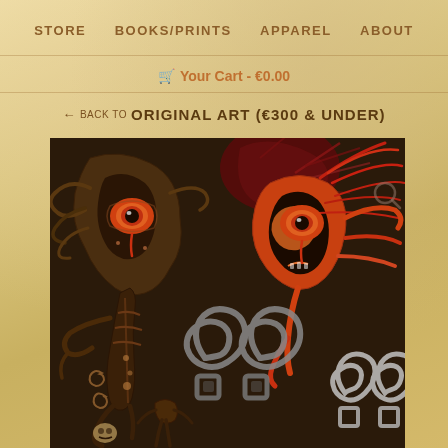STORE  BOOKS/PRINTS  APPAREL  ABOUT
🛒 Your Cart - €0.00
← BACK TO ORIGINAL ART (€300 & UNDER)
[Figure (illustration): Dark fantasy digital illustration showing two stylized creature/deity faces confronting each other. Left figure is dark brown/tan with swirling tribal patterns, a single large orange eye with red iris, elongated head with flowing tentacle-like appendages, and a skeletal body with decorative symbols. Right figure is vivid orange and red, similarly styled with one large orange eye, red flame-like hair radiating outward, and tribal spiral patterns. Background is dark brown/black. Foreground has white and grey Celtic-style knotwork spiral symbols.]